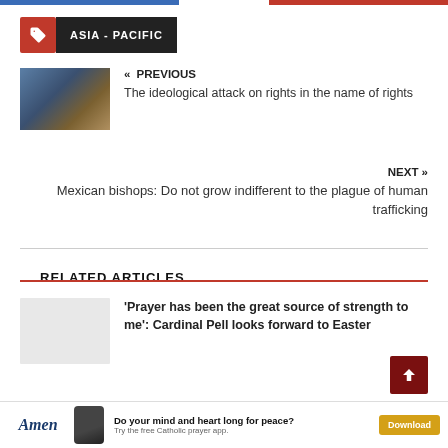ASIA - PACIFIC
« PREVIOUS
The ideological attack on rights in the name of rights
NEXT »
Mexican bishops: Do not grow indifferent to the plague of human trafficking
RELATED ARTICLES
'Prayer has been the great source of strength to me': Cardinal Pell looks forward to Easter